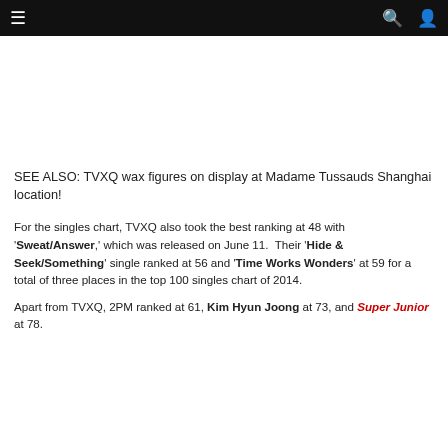≡  🔍 👤
[Figure (other): Advertisement placeholder banner]
SEE ALSO: TVXQ wax figures on display at Madame Tussauds Shanghai location!
For the singles chart, TVXQ also took the best ranking at 48 with 'Sweat/Answer,' which was released on June 11. Their 'Hide & Seek/Something' single ranked at 56 and 'Time Works Wonders' at 59 for a total of three places in the top 100 singles chart of 2014.
Apart from TVXQ, 2PM ranked at 61, Kim Hyun Joong at 73, and Super Junior at 78.